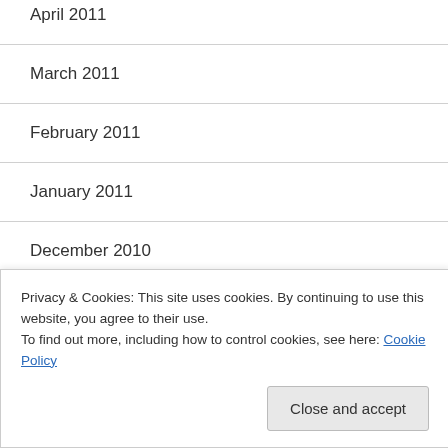April 2011
March 2011
February 2011
January 2011
December 2010
November 2010
October 2010
September 2010
Privacy & Cookies: This site uses cookies. By continuing to use this website, you agree to their use.
To find out more, including how to control cookies, see here: Cookie Policy
Close and accept